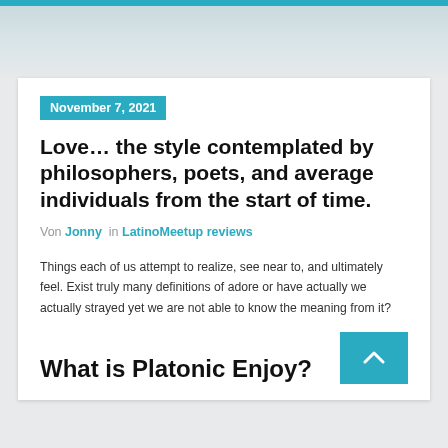November 7, 2021
Love… the style contemplated by philosophers, poets, and average individuals from the start of time.
Von Jonny in LatinoMeetup reviews
Things each of us attempt to realize, see near to, and ultimately feel. Exist truly many definitions of adore or have actually we actually strayed yet we are not able to know the meaning from it?
What is Platonic Enjoy?